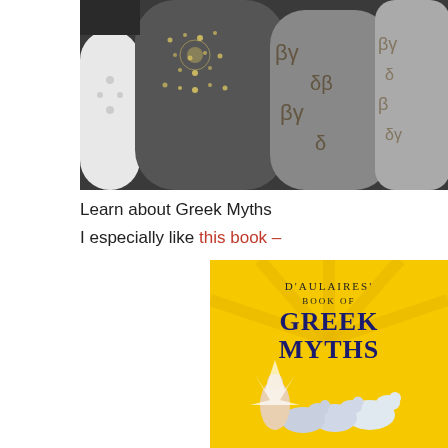[Figure (photo): Photo of decorative metal cylindrical lanterns with ornate cut-out patterns, in dark metallic and light tones.]
Learn about Greek Myths
I especially like this book –
[Figure (photo): Book cover of D'Aulaires' Book of Greek Myths with yellow background, large bold text, and illustration of a figure riding white horses.]